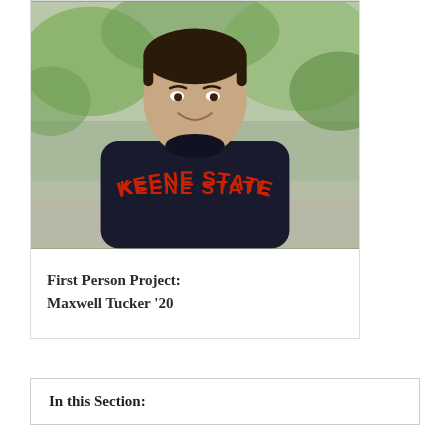[Figure (photo): Portrait photo of a young man smiling, wearing a dark navy/black Keene State crewneck sweatshirt with red collegiate lettering. Background is an outdoor scene with blurred green foliage.]
First Person Project: Maxwell Tucker '20
In this Section: